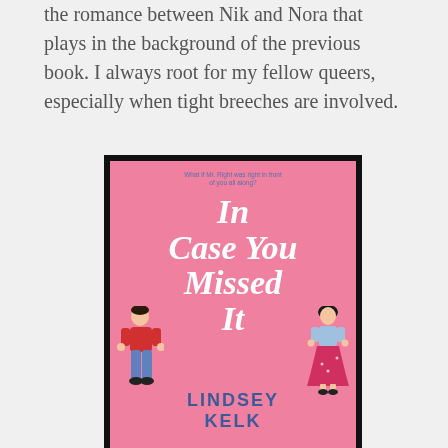the romance between Nik and Nora that plays in the background of the previous book. I always root for my fellow queers, especially when tight breeches are involved.
[Figure (photo): Book cover of 'In Case You Missed It' by Lindsey Kelk. Pink background with two illustrated characters (a man in red shirt and jeans on the left, a woman in a blue top and red skirt on the right). White handwritten-style title text in the center. Tagline at top reads 'What if Mr. Right was right in front of you all along?' Author name in bold dark blue at bottom.]